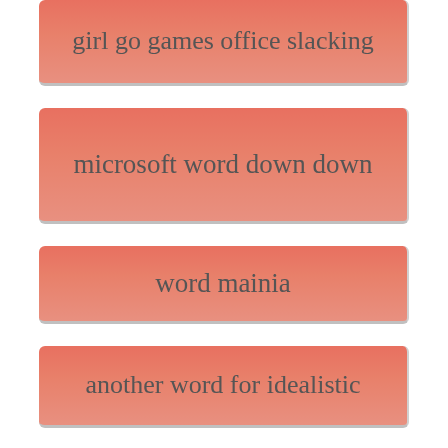girl go games office slacking
microsoft word down down
word mainia
another word for idealistic